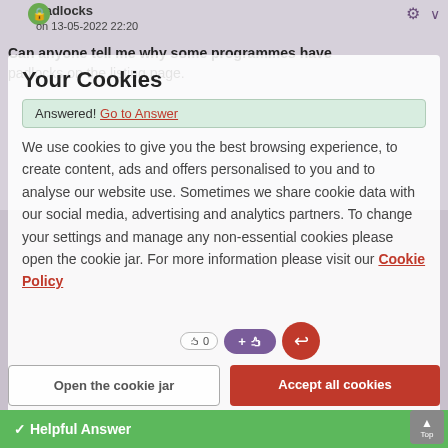Padlocks
on 13-05-2022 22:20
Can anyone tell me why some programmes have padlocks on the listing page.
Your Cookies
Answered! Go to Answer
We use cookies to give you the best browsing experience, to create content, ads and offers personalised to you and to analyse our website use. Sometimes we share cookie data with our social media, advertising and analytics partners. To change your settings and manage any non-essential cookies please open the cookie jar. For more information please visit our Cookie Policy
Open the cookie jar
Accept all cookies
✓ Helpful Answer